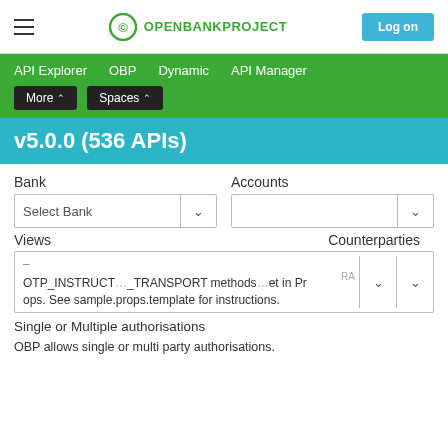OPENBANKPROJECT — Log on
API Explorer  OBP  Dynamic  API Manager  More  Spaces
v5.0.0 (536 APIs)
Bank   Accounts   Select Bank   Views   Counterparties
OTP_INSTRUCT…_TRANSPORT methods…et in Props. See sample.props.template for instructions.
Single or Multiple authorisations
OBP allows single or multi party authorisations.